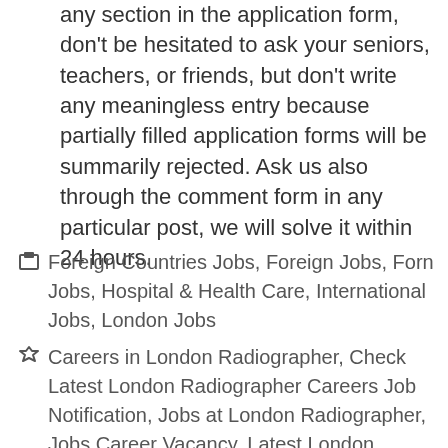any section in the application form, don't be hesitated to ask your seniors, teachers, or friends, but don't write any meaningless entry because partially filled application forms will be summarily rejected. Ask us also through the comment form in any particular post, we will solve it within 24 hours.
Foreign Countries Jobs, Foreign Jobs, Forn Jobs, Hospital & Health Care, International Jobs, London Jobs
Careers in London Radiographer, Check Latest London Radiographer Careers Job Notification, Jobs at London Radiographer, Jobs Career Vacancy, Latest London Radiographer Careers Job Vacancy Information, Latest London Radiographer Vacancy,